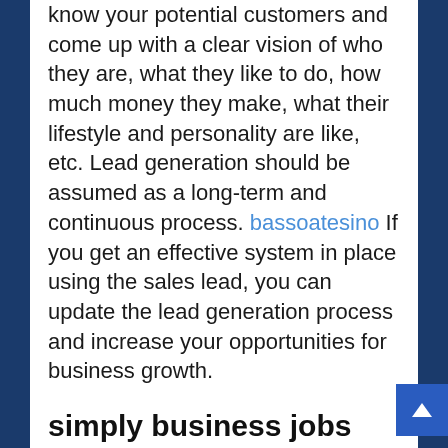know your potential customers and come up with a clear vision of who they are, what they like to do, how much money they make, what their lifestyle and personality are like, etc. Lead generation should be assumed as a long-term and continuous process. bassoatesino If you get an effective system in place using the sales lead, you can update the lead generation process and increase your opportunities for business growth.
simply business jobs boston, corporate team building activities melbourne, best personal reputation